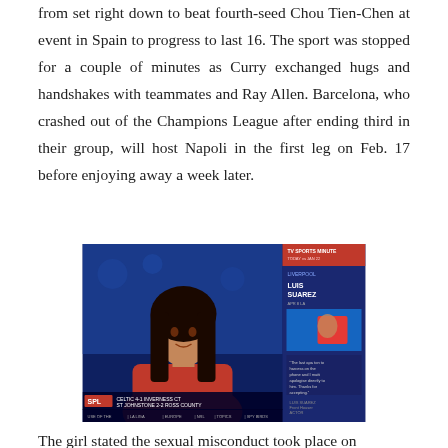from set right down to beat fourth-seed Chou Tien-Chen at event in Spain to progress to last 16. The sport was stopped for a couple of minutes as Curry exchanged hugs and handshakes with teammates and Ray Allen. Barcelona, who crashed out of the Champions League after ending third in their group, will host Napoli in the first leg on Feb. 17 before enjoying away a week later.
[Figure (photo): A female TV news anchor in a red top presenting a sports news broadcast. The screen shows a sidebar with 'LIVERPOOL' and 'LUIS SUAREZ' text, a sports image, and a quote. At the bottom of the screen is a ticker showing 'SPL CELTIC 4-1 INVERNESS CT / ST JOHNSTONE 2-2 ROSS COUNTY' and navigation tabs.]
The girl stated the sexual misconduct took place on